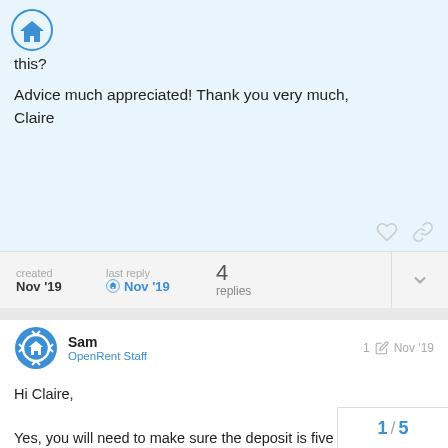[Figure (logo): Home icon in a blue circle, top left]
this?
Advice much appreciated! Thank you very much,
Claire
created  Nov '19    last reply  Nov '19    4 replies
[Figure (logo): Sam's avatar - OpenRent circular logo in blue]
Sam
OpenRent Staff
1  Nov '19
Hi Claire,

Yes, you will need to make sure the deposit is five weeks' rent or less before 1st June 2020. You also need to do this if renew your existing tenancy before 1st Jun... was wrong].